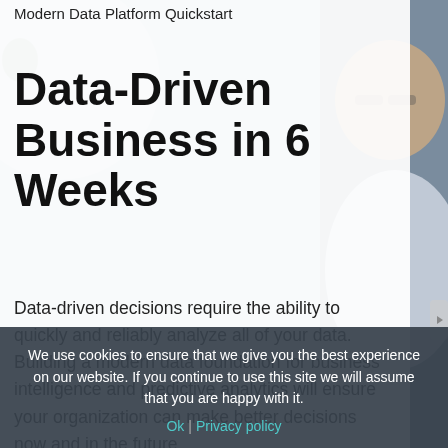[Figure (photo): Background photo of a man with glasses in a professional setting, partially visible on the right side of the page, with a blurred office/meeting room background]
Modern Data Platform Quickstart
Data-Driven Business in 6 Weeks
Data-driven decisions require the ability to quickly and reliably analyze all of your data. Building a modern data foundation for business intelligence and predictive analytics will ensure your organization can make better decisions now and in the future.
We use cookies to ensure that we give you the best experience on our website. If you continue to use this site we will assume that you are happy with it.
Ok   Privacy policy